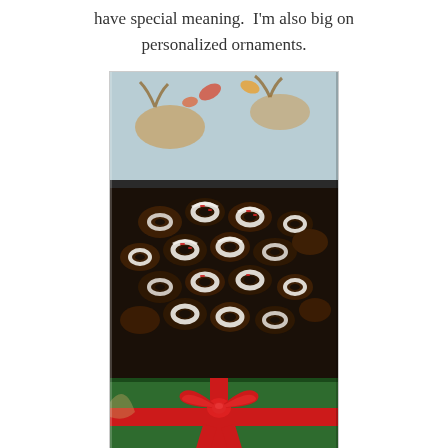have special meaning.  I'm also big on personalized ornaments.
[Figure (photo): An open green Christmas gift tin filled with chocolate-dipped pretzels (white and dark chocolate coated ring pretzels with red sprinkles). The tin has a festive holiday illustration on the lid showing reindeer. The front of the green tin is tied with a red ribbon and bow.]